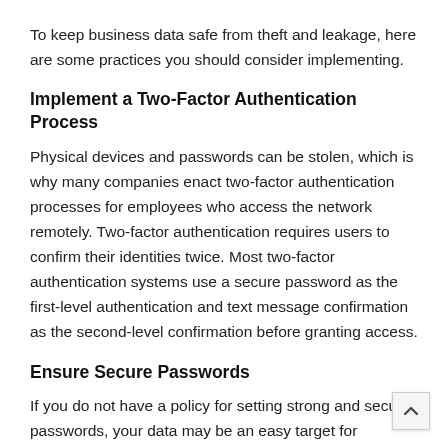To keep business data safe from theft and leakage, here are some practices you should consider implementing.
Implement a Two-Factor Authentication Process
Physical devices and passwords can be stolen, which is why many companies enact two-factor authentication processes for employees who access the network remotely. Two-factor authentication requires users to confirm their identities twice. Most two-factor authentication systems use a secure password as the first-level authentication and text message confirmation as the second-level confirmation before granting access.
Ensure Secure Passwords
If you do not have a policy for setting strong and secure passwords, your data may be an easy target for intruders. According to a report, 63 percent of companies have password protection as their first line of defense to secure data on mobile devices. Some of the best practices include requiring employe…